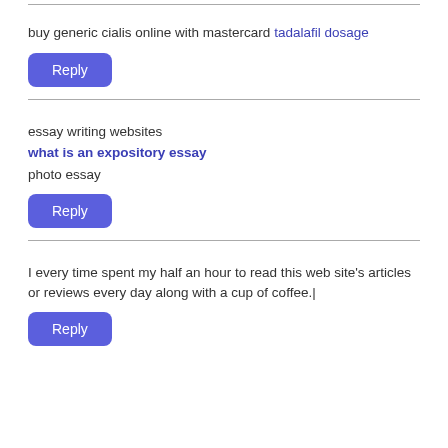buy generic cialis online with mastercard tadalafil dosage
Reply
essay writing websites what is an expository essay photo essay
Reply
I every time spent my half an hour to read this web site's articles or reviews every day along with a cup of coffee.|
Reply